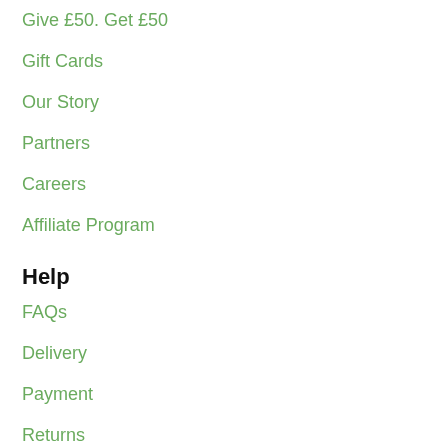Give £50. Get £50
Gift Cards
Our Story
Partners
Careers
Affiliate Program
Help
FAQs
Delivery
Payment
Returns